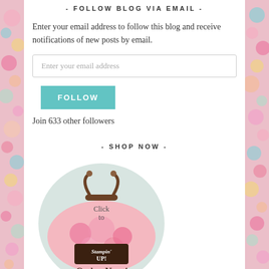- FOLLOW BLOG VIA EMAIL -
Enter your email address to follow this blog and receive notifications of new posts by email.
Enter your email address
FOLLOW
Join 633 other followers
- SHOP NOW -
[Figure (illustration): A circular badge with a pink floral handbag and 'Click to Order Now! Stampin' Up!' text]